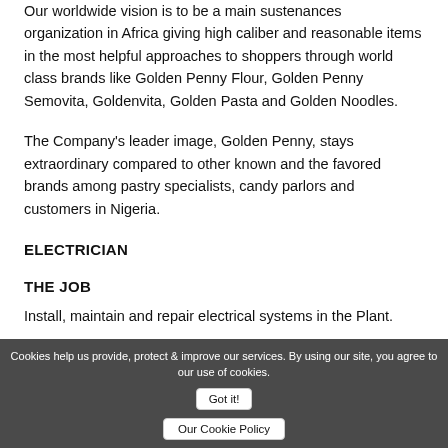Our worldwide vision is to be a main sustenances organization in Africa giving high caliber and reasonable items in the most helpful approaches to shoppers through world class brands like Golden Penny Flour, Golden Penny Semovita, Goldenvita, Golden Pasta and Golden Noodles.
The Company's leader image, Golden Penny, stays extraordinary compared to other known and the favored brands among pastry specialists, candy parlors and customers in Nigeria.
ELECTRICIAN
THE JOB
Install, maintain and repair electrical systems in the Plant.
Cookies help us provide, protect & improve our services. By using our site, you agree to our use of cookies.